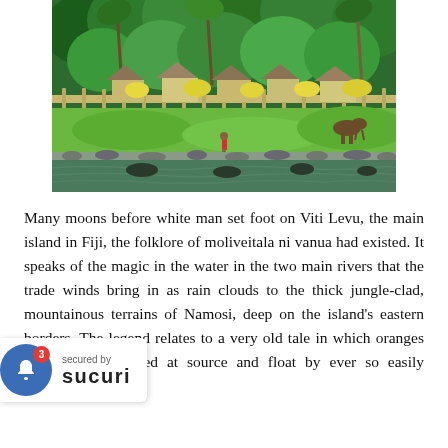[Figure (photo): A tropical Fijian village scene showing traditional thatched-roof huts behind a wooden fence, green grass, a person wading in a rocky river in the foreground, a grazing animal on the right, and dense green jungle with palm trees in the background.]
Many moons before white man set foot on Viti Levu, the main island in Fiji, the folklore of moliveitala ni vanua had existed. It speaks of the magic in the water in the two main rivers that the trade winds bring in as rain clouds to the thick jungle-clad, mountainous terrains of Namosi, deep on the island's eastern borders. The legend relates to a very old tale in which oranges (moli) are separated at source and float by ever so easily through the